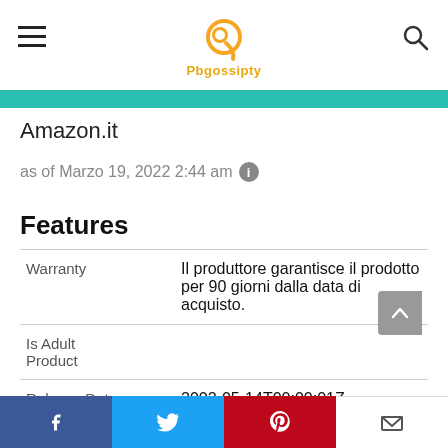Pbgossipty (logo)
Amazon.it
as of Marzo 19, 2022 2:44 am
Features
| Feature | Value |
| --- | --- |
| Warranty | Il produttore garantisce il prodotto per 90 giorni dalla data di acquisto. |
| Is Adult Product |  |
| Release Date | 2002-05-14T00:00:01Z |
| Edition | 2 |
| Language | Italiano |
Facebook | Twitter | Pinterest | Email